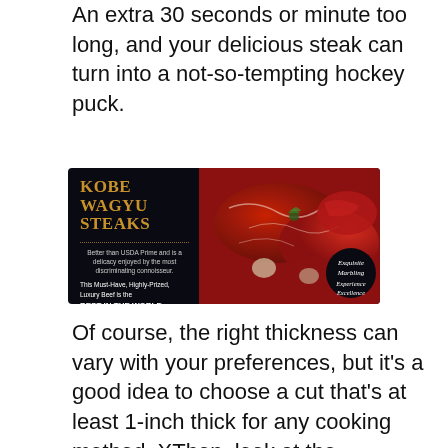An extra 30 seconds or minute too long, and your delicious steak can turn into a not-so-tempting hockey puck.
[Figure (photo): Advertisement for Kobe Wagyu Steaks showing a black background on the left with gold title text 'KOBE WAGYU STEAKS', dotted divider, and white descriptive text, alongside a photo of raw red wagyu steaks with marbling on the right, with a circular badge reading 'Exquisite Marbling Experience Excellence']
Of course, the right thickness can vary with your preferences, but it's a good idea to choose a cut that's at least 1-inch thick for any cooking method. XThen, look at the marbling. See these white lines running